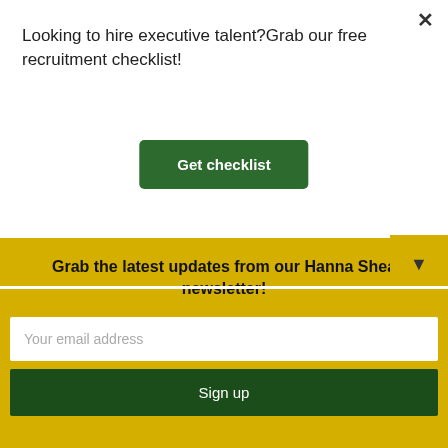Looking to hire executive talent?Grab our free recruitment checklist!
×
Get checklist
[Figure (photo): Blurred grey background image, possibly outdoors or abstract]
▼
Grab the latest updates from our Hanna Shea newsletter!
Your email address
Sign up